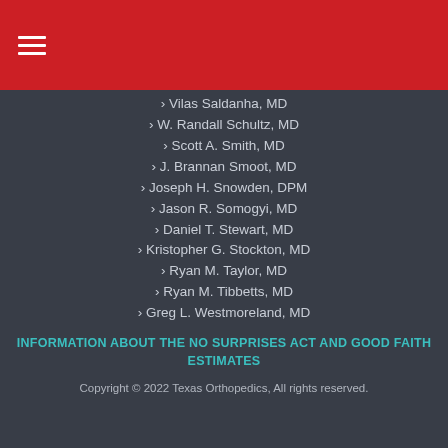› Vilas Saldanha, MD
› W. Randall Schultz, MD
› Scott A. Smith, MD
› J. Brannan Smoot, MD
› Joseph H. Snowden, DPM
› Jason R. Somogyi, MD
› Daniel T. Stewart, MD
› Kristopher G. Stockton, MD
› Ryan M. Taylor, MD
› Ryan M. Tibbetts, MD
› Greg L. Westmoreland, MD
INFORMATION ABOUT THE NO SURPRISES ACT AND GOOD FAITH ESTIMATES
Copyright © 2022 Texas Orthopedics, All rights reserved.